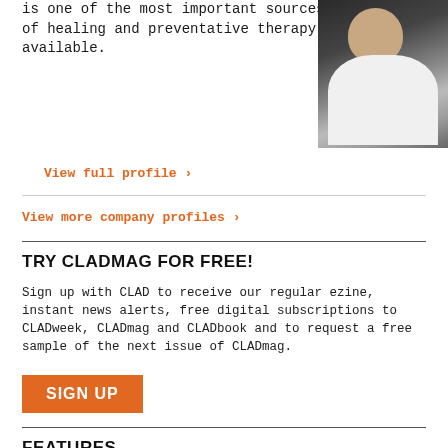is one of the most important sources of healing and preventative therapy available.
[Figure (photo): Portrait photo of a man in a white shirt against a dark background, smiling]
View full profile ›
View more company profiles ›
TRY CLADMAG FOR FREE!
Sign up with CLAD to receive our regular ezine, instant news alerts, free digital subscriptions to CLADweek, CLADmag and CLADbook and to request a free sample of the next issue of CLADmag.
SIGN UP
FEATURES
[Figure (photo): Dark toned image with orange bar at top, likely a features section banner]